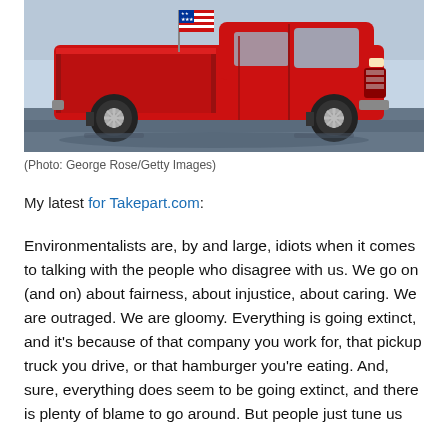[Figure (photo): A red pickup truck with an American flag in the truck bed, parked on a wet surface with snow or ice visible in the background.]
(Photo: George Rose/Getty Images)
My latest for Takepart.com:
Environmentalists are, by and large, idiots when it comes to talking with the people who disagree with us. We go on (and on) about fairness, about injustice, about caring. We are outraged. We are gloomy. Everything is going extinct, and it’s because of that company you work for, that pickup truck you drive, or that hamburger you’re eating. And, sure, everything does seem to be going extinct, and there is plenty of blame to go around. But people just tune us